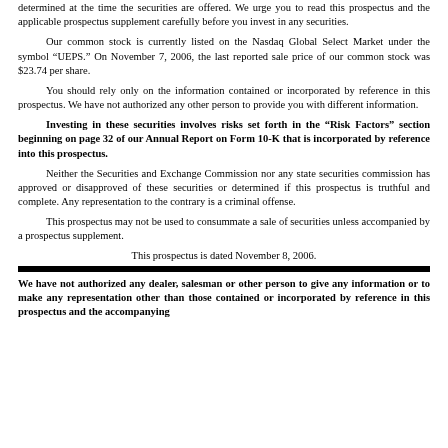determined at the time the securities are offered. We urge you to read this prospectus and the applicable prospectus supplement carefully before you invest in any securities.
Our common stock is currently listed on the Nasdaq Global Select Market under the symbol “UEPS.” On November 7, 2006, the last reported sale price of our common stock was $23.74 per share.
You should rely only on the information contained or incorporated by reference in this prospectus. We have not authorized any other person to provide you with different information.
Investing in these securities involves risks set forth in the “Risk Factors” section beginning on page 32 of our Annual Report on Form 10-K that is incorporated by reference into this prospectus.
Neither the Securities and Exchange Commission nor any state securities commission has approved or disapproved of these securities or determined if this prospectus is truthful and complete. Any representation to the contrary is a criminal offense.
This prospectus may not be used to consummate a sale of securities unless accompanied by a prospectus supplement.
This prospectus is dated November 8, 2006.
We have not authorized any dealer, salesman or other person to give any information or to make any representation other than those contained or incorporated by reference in this prospectus and the accompanying